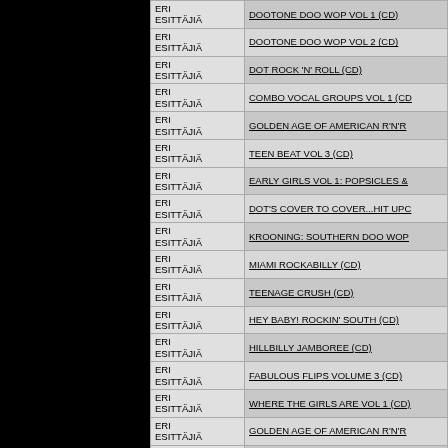[Figure (other): Black panel on left side of page]
| Artist | Title |
| --- | --- |
| ERI ESITTÄJIÄ | DOOTONE DOO WOP VOL 1 (CD) |
| ERI ESITTÄJIÄ | DOOTONE DOO WOP VOL 2 (CD) |
| ERI ESITTÄJIÄ | DOT ROCK 'N' ROLL (CD) |
| ERI ESITTÄJIÄ | COMBO VOCAL GROUPS VOL 1 (CD) |
| ERI ESITTÄJIÄ | GOLDEN AGE OF AMERICAN R'N'R |
| ERI ESITTÄJIÄ | TEEN BEAT VOL 3 (CD) |
| ERI ESITTÄJIÄ | EARLY GIRLS VOL 1: POPSICLES & |
| ERI ESITTÄJIÄ | DOT'S COVER TO COVER...HIT UPC |
| ERI ESITTÄJIÄ | KROONING: SOUTHERN DOO WOP |
| ERI ESITTÄJIÄ | MIAMI ROCKABILLY (CD) |
| ERI ESITTÄJIÄ | TEENAGE CRUSH (CD) |
| ERI ESITTÄJIÄ | HEY BABY! ROCKIN' SOUTH (CD) |
| ERI ESITTÄJIÄ | HILLBILLY JAMBOREE (CD) |
| ERI ESITTÄJIÄ | FABULOUS FLIPS VOLUME 3 (CD) |
| ERI ESITTÄJIÄ | WHERE THE GIRLS ARE VOL 1 (CD) |
| ERI ESITTÄJIÄ | GOLDEN AGE OF AMERICAN R'N'R |
| ERI ESITTÄJIÄ | NO JIVE:AUTHENTIC SOUTHERN CO |
| ERI ESITTÄJIÄ | JUMPIN' AND JIVIN' (CD) |
| ERI ESITTÄJIÄ |  |